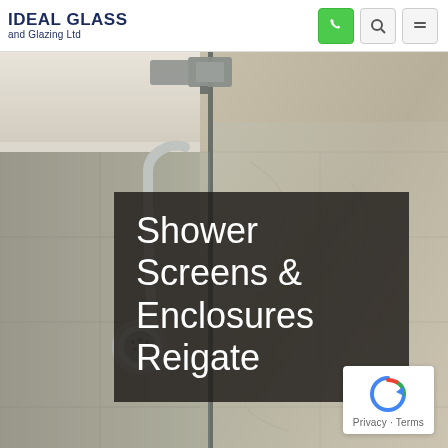IDEAL GLASS and Glazing Ltd
[Figure (photo): Photograph of a frameless glass shower enclosure with a chrome shower head and rail visible through the glass. The ceiling and marble-effect tile walls are visible in the background. A metal clamp fitting is visible at the top of the glass panel.]
Shower Screens & Enclosures Reigate